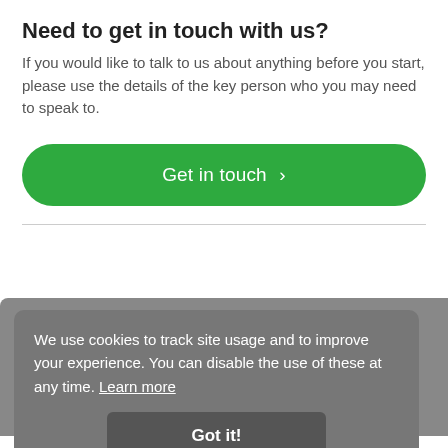Need to get in touch with us?
If you would like to talk to us about anything before you start, please use the details of the key person who you may need to speak to.
[Figure (other): Green rounded button labeled 'Get in touch >']
Connect with Bishop Burton College
[Figure (other): Social media icons: Facebook, Twitter, Instagram, YouTube]
Website Links
We use cookies to track site usage and to improve your experience. You can disable the use of these at any time. Learn more
[Figure (other): Got it! button on cookie consent overlay]